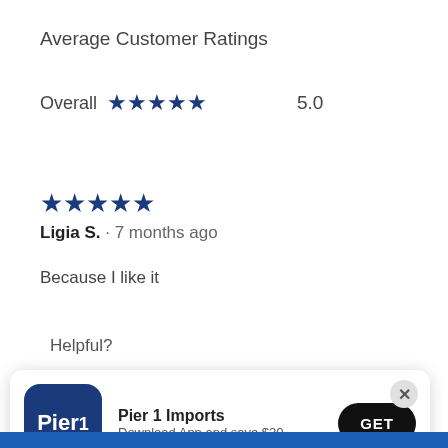Average Customer Ratings
Overall ★★★★★ 5.0
★★★★★ Ligia S. · 7 months ago
Because I like it
Helpful?
[Figure (other): App download banner for Pier 1 Imports with logo, text 'Download App and save $20', and GET button]